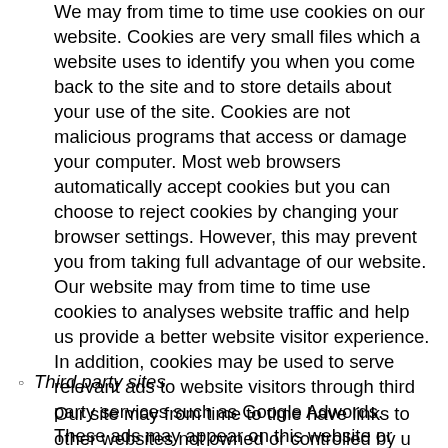We may from time to time use cookies on our website. Cookies are very small files which a website uses to identify you when you come back to the site and to store details about your use of the site. Cookies are not malicious programs that access or damage your computer. Most web browsers automatically accept cookies but you can choose to reject cookies by changing your browser settings. However, this may prevent you from taking full advantage of our website. Our website may from time to time use cookies to analyses website traffic and help us provide a better website visitor experience. In addition, cookies may be used to serve relevant ads to website visitors through third party services such as Google Adwords. These ads may appear on this website or other websites you visit.
Third party sites
Our site may from time to time have links to other websites not owned or controlled by u